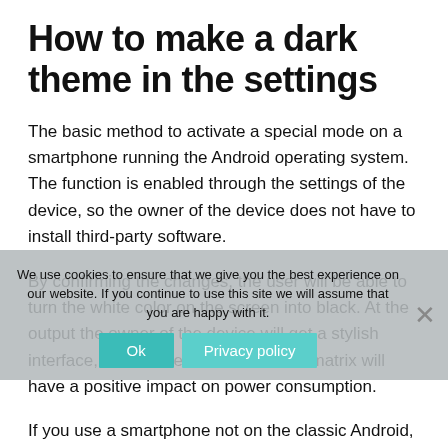How to make a dark theme in the settings
The basic method to activate a special mode on a smartphone running the Android operating system. The function is enabled through the settings of the device, so the owner of the device does not have to install third-party software.
By confirming the changes, the user will be able to turn the white color on the screen into black. At the output the owner of the device will get a stylish interface, which in terms of AMOLED matrix will have a positive impact on power consumption.
If you use a smartphone not on the classic Android,
We use cookies to ensure that we give you the best experience on our website. If you continue to use this site we will assume that you are happy with it.